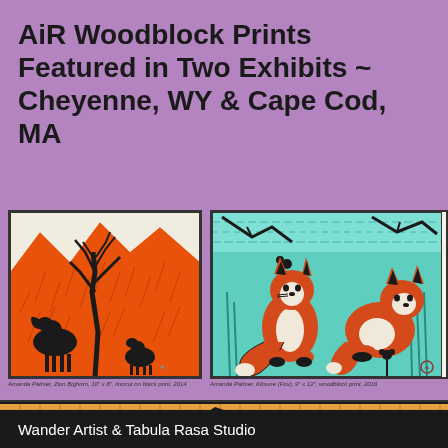AiR Woodblock Prints Featured in Two Exhibits ~ Cheyenne, WY & Cape Cod, MA
[Figure (illustration): Woodblock print showing mountain landscape with black silhouette of animals (bighorn sheep) against orange/red mountain background with bare tree. Caption: Amanda Palmer, Zion Bighorn, 10" x 8", linocut on black print, 2014]
[Figure (illustration): Woodblock print showing two red foxes on teal/turquoise background with plants. Caption: Amanda Palmer, Kitsune (Fox), 9" x 12", woodblock print, 2016]
[Figure (illustration): Woodblock print (partial view) showing orange and black design with bird/animal silhouette]
Wander Artist & Tabula Rasa Studio